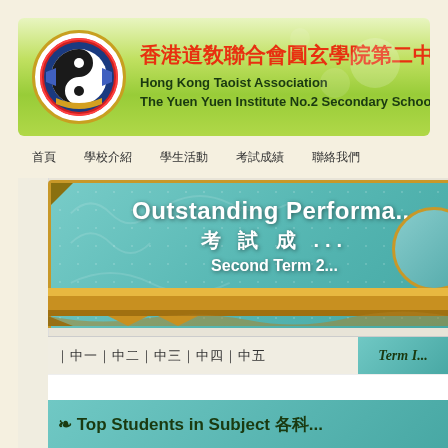[Figure (logo): Hong Kong Taoist Association Yuen Yuen Institute No.2 Secondary School logo with yin-yang symbol]
香港道敎聯合會圓玄學院第二中學
Hong Kong Taoist Association
The Yuen Yuen Institute No.2 Secondary School
首頁　學校介紹　學生活動　考試成績　聯絡我們
[Figure (infographic): Outstanding Performance award banner in teal with gold border, showing text: Outstanding Performa... 考試成績... Second Term 2...]
｜中一｜中二｜中三｜中四｜中五    Term I...
❧ Top Students in Subject 各科...